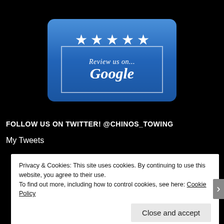[Figure (logo): Blue rounded rectangle badge with 5 white stars and text 'Review us on... Google' in white serif font on a blue gradient background]
FOLLOW US ON TWITTER! @CHINOS_TOWING
My Tweets
Privacy & Cookies: This site uses cookies. By continuing to use this website, you agree to their use.
To find out more, including how to control cookies, see here: Cookie Policy
Close and accept